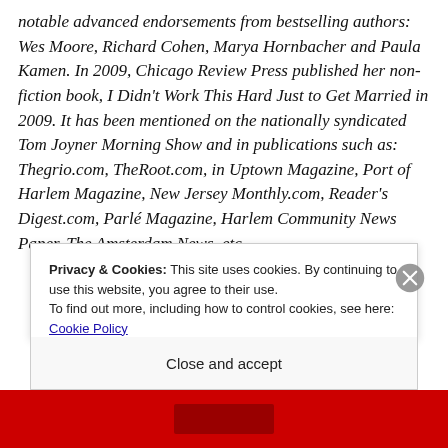notable advanced endorsements from bestselling authors: Wes Moore, Richard Cohen, Marya Hornbacher and Paula Kamen. In 2009, Chicago Review Press published her non-fiction book, I Didn't Work This Hard Just to Get Married in 2009. It has been mentioned on the nationally syndicated Tom Joyner Morning Show and in publications such as: Thegrio.com, TheRoot.com, in Uptown Magazine, Port of Harlem Magazine, New Jersey Monthly.com, Reader's Digest.com, Parlé Magazine, Harlem Community News Paper, The Amsterdam News, etc...
Privacy & Cookies: This site uses cookies. By continuing to use this website, you agree to their use. To find out more, including how to control cookies, see here: Cookie Policy
Close and accept